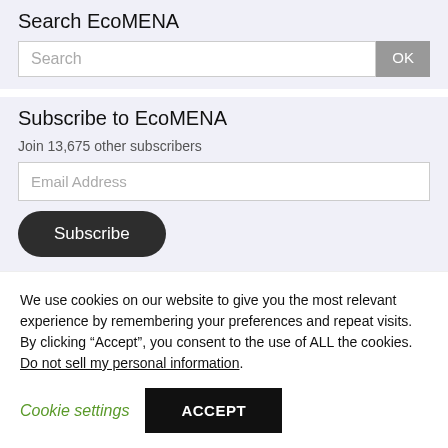Search EcoMENA
Search
Subscribe to EcoMENA
Join 13,675 other subscribers
Email Address
Subscribe
We use cookies on our website to give you the most relevant experience by remembering your preferences and repeat visits. By clicking “Accept”, you consent to the use of ALL the cookies.
Do not sell my personal information.
Cookie settings
ACCEPT